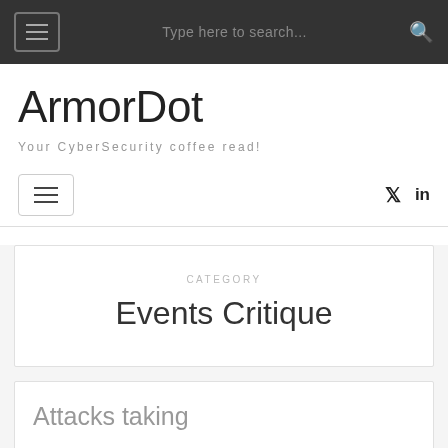Type here to search...
ArmorDot
Your CyberSecurity coffee read!
CATEGORY
Events Critique
Attacks taking